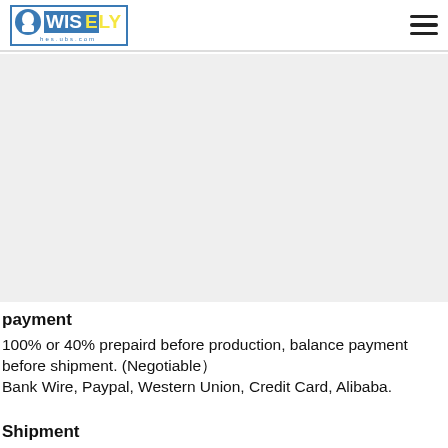WISELY [logo] header navigation
[Figure (other): Grey background empty content area]
payment
100% or 40% prepaird before production, balance payment before shipment. (Negotiable） Bank Wire, Paypal, Western Union, Credit Card, Alibaba.
Shipment